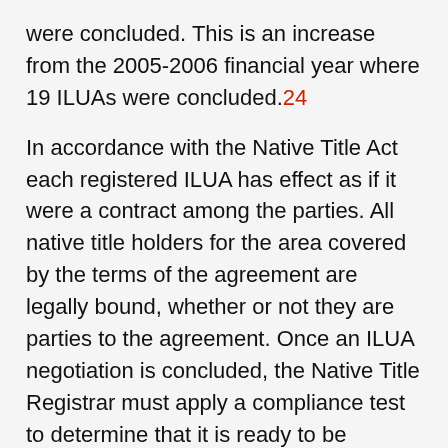were concluded. This is an increase from the 2005-2006 financial year where 19 ILUAs were concluded.24
In accordance with the Native Title Act each registered ILUA has effect as if it were a contract among the parties. All native title holders for the area covered by the terms of the agreement are legally bound, whether or not they are parties to the agreement. Once an ILUA negotiation is concluded, the Native Title Registrar must apply a compliance test to determine that it is ready to be registered and included on the Register of Indigenous Land Use Agreements.
Compliance criteria includes:
making sure that the registration requirements of the Native Title Act and regulations are met;
that the public and those who may have an interest in the area of the proposed ILUA have been notified; and
consider any objections to the registration of the